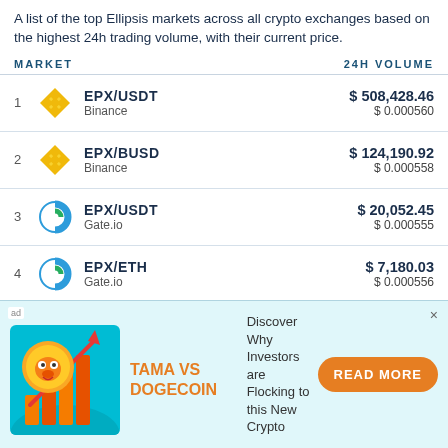A list of the top Ellipsis markets across all crypto exchanges based on the highest 24h trading volume, with their current price.
| MARKET | 24H VOLUME |
| --- | --- |
| 1 EPX/USDT Binance | $508,428.46 $0.000560 |
| 2 EPX/BUSD Binance | $124,190.92 $0.000558 |
| 3 EPX/USDT Gate.io | $20,052.45 $0.000555 |
| 4 EPX/ETH Gate.io | $7,180.03 $0.000556 |
| 5 EPX/USDT Kucoin | $4,992.10 $0.000558 |
[Figure (infographic): Advertisement banner: TAMA VS DOGECOIN crypto ad with a shiba inu coin image, bar chart, upward arrow, text 'Discover Why Investors are Flocking to this New Crypto', and a READ MORE button]